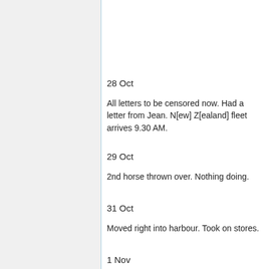28 Oct
All letters to be censored now. Had a letter from Jean. N[ew] Z[ealand] fleet arrives 9.30 AM.
29 Oct
2nd horse thrown over. Nothing doing.
31 Oct
Moved right into harbour. Took on stores.
1 Nov
Started to leave Albany at about 7 AM. A very fine sight indeed. Showery.